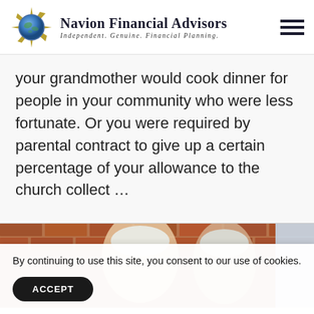Navion Financial Advisors — Independent. Genuine. Financial Planning.
your grandmother would cook dinner for people in your community who were less fortunate. Or you were required by parental contract to give up a certain percentage of your allowance to the church collect …
[Figure (photo): Partial photograph of two people (appears to be an older couple), set against a brick wall background, partially obscured by a cookie consent banner]
By continuing to use this site, you consent to our use of cookies.
ACCEPT